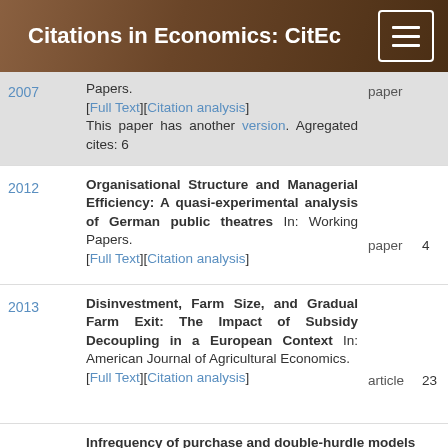Citations in Economics: CitEc
| Year | Title/Source | Type | Count |
| --- | --- | --- | --- |
| 2007 | [Full Text][Citation analysis] This paper has another version. Agregated cites: 6 | paper |  |
| 2012 | Organisational Structure and Managerial Efficiency: A quasi-experimental analysis of German public theatres In: Working Papers. [Full Text][Citation analysis] | paper | 4 |
| 2013 | Disinvestment, Farm Size, and Gradual Farm Exit: The Impact of Subsidy Decoupling in a European Context In: American Journal of Agricultural Economics. [Full Text][Citation analysis] | article | 23 |
|  | Infrequency of purchase and double-hurdle models |  |  |